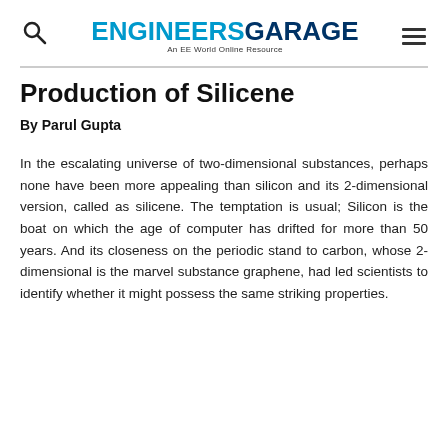ENGINEERS GARAGE — An EE World Online Resource
Production of Silicene
By Parul Gupta
In the escalating universe of two-dimensional substances, perhaps none have been more appealing than silicon and its 2-dimensional version, called as silicene. The temptation is usual; Silicon is the boat on which the age of computer has drifted for more than 50 years. And its closeness on the periodic stand to carbon, whose 2-dimensional is the marvel substance graphene, had led scientists to identify whether it might possess the same striking properties.